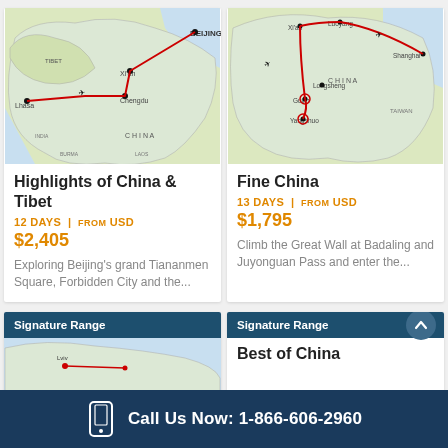[Figure (map): Map of China showing travel route for Highlights of China & Tibet, with red line connecting Lhasa, Chengdu, Xi'an, and Beijing]
Highlights of China & Tibet
12 DAYS | FROM USD $2,405
Exploring Beijing's grand Tiananmen Square, Forbidden City and the...
[Figure (map): Map of China showing travel route for Fine China, with red lines connecting Xi'an, Luoyang, Shanghai, Guilin, Longsheng, Yangshuo]
Fine China
13 DAYS | FROM USD $1,795
Climb the Great Wall at Badaling and Juyonguan Pass and enter the...
Signature Range
[Figure (map): Partial map thumbnail for Signature Range card]
Signature Range
Best of China
Call Us Now: 1-866-606-2960